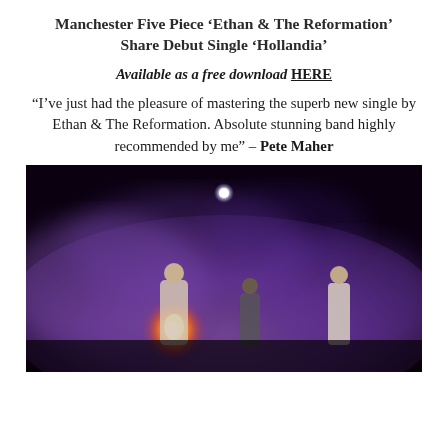Manchester Five Piece ‘Ethan & The Reformation’ Share Debut Single ‘Hollandia’
Available as a free download HERE
“I’ve just had the pleasure of mastering the superb new single by Ethan & The Reformation. Absolute stunning band highly recommended by me” – Pete Maher
[Figure (photo): Band members of Ethan & The Reformation standing in dramatic purple smoke with flame, dark background with a bright moon/light above.]